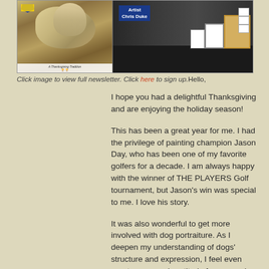[Figure (photo): Two photos side by side: left shows a painted dog portrait with a blue ribbon and text 'A Thanksgiving Tradition', right shows an art booth display table with framed artwork and a sign reading 'Artist Chris Duke'.]
Click image to view full newsletter. Click here to sign up. Hello,
I hope you had a delightful Thanksgiving and are enjoying the holiday season!
This has been a great year for me. I had the privilege of painting champion Jason Day, who has been one of my favorite golfers for a decade. I am always happy with the winner of THE PLAYERS Golf tournament, but Jason's win was special to me. I love his story.
It was also wonderful to get more involved with dog portraiture. As I deepen my understanding of dogs' structure and expression, I feel even greater awe and gratitude for our canine brothers and sisters.